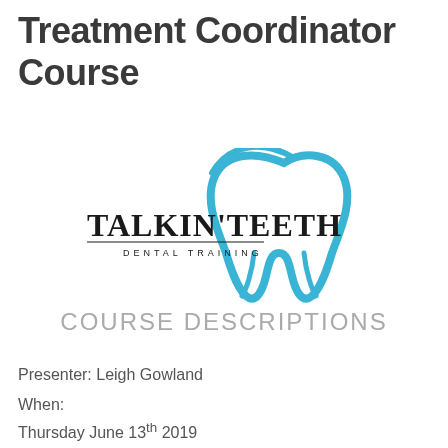Treatment Coordinator Course
[Figure (logo): Talkin' Teeth Dental Training logo with blue tooth graphic and text]
COURSE DESCRIPTIONS
Presenter: Leigh Gowland
When:
Thursday June 13th 2019
Course time :  4:30pm to 9:00pm